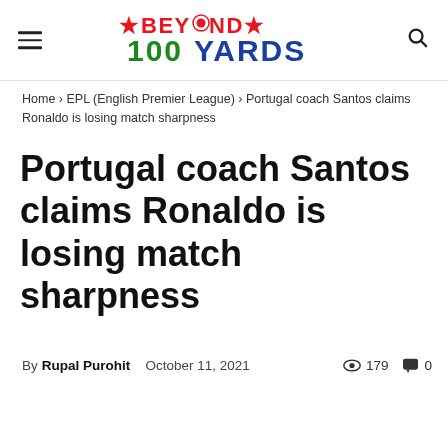BEYOND 100 YARDS
Home › EPL (English Premier League) › Portugal coach Santos claims Ronaldo is losing match sharpness
Portugal coach Santos claims Ronaldo is losing match sharpness
By Rupal Purohit   October 11, 2021   179 views   0 comments